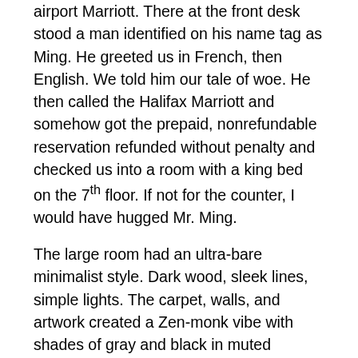airport Marriott. There at the front desk stood a man identified on his name tag as Ming. He greeted us in French, then English. We told him our tale of woe. He then called the Halifax Marriott and somehow got the prepaid, nonrefundable reservation refunded without penalty and checked us into a room with a king bed on the 7th floor. If not for the counter, I would have hugged Mr. Ming.
The large room had an ultra-bare minimalist style. Dark wood, sleek lines, simple lights. The carpet, walls, and artwork created a Zen-monk vibe with shades of gray and black in muted patterns. The shower had one frosted glass wall separating it from the bedroom. The bathroom, oh, the bathroom. It featured a seven-foot long, two-foot deep counter interrupted only by the lovely sink. The counter space had to have been designed by a woman tired of trying to balance her toiletries and makeup on the back of a toilet. Handsome and I would not be elbowing each other to